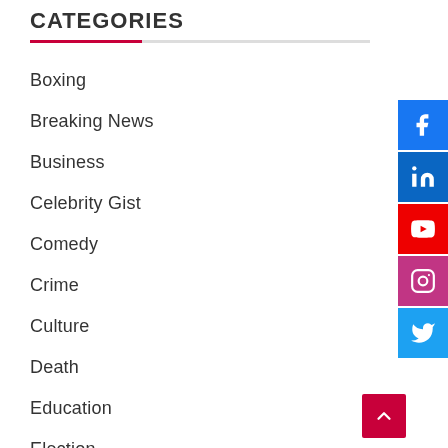CATEGORIES
Boxing
Breaking News
Business
Celebrity Gist
Comedy
Crime
Culture
Death
Education
Election
Employment